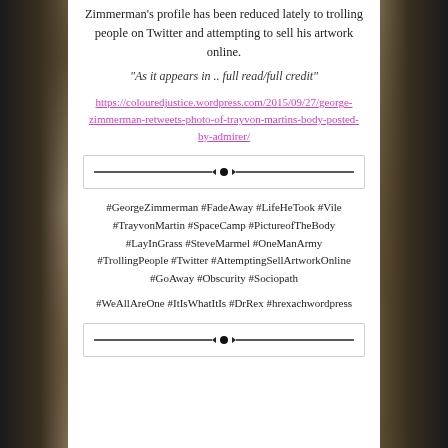Zimmerman's profile has been reduced lately to trolling people on Twitter and attempting to sell his artwork online.
“As it appears in .. full read/full credit”
https://colouredjustice.wordpress.com/2015/09/27/george-zimmerman-retweets-photo-of-trayvon-martins-body-posted-by-admirer/
[Figure (other): Decorative horizontal divider with centered diamond/dot ornament flanked by lines]
#GeorgeZimmerman #FadeAway #LifeHeTook #Vile #TrayvonMartin #SpaceCamp #PictureofTheBody #LayInGrass #SteveMarmel #OneManArmy #TrollingPeople #Twitter #AttemptingSellArtworkOnline #GoAway #Obscurity #Sociopath
#WeAllAreOne #ItIsWhatItIs #DrRex #hrexachwordpress
[Figure (other): Decorative horizontal divider with centered diamond/dot ornament flanked by lines]